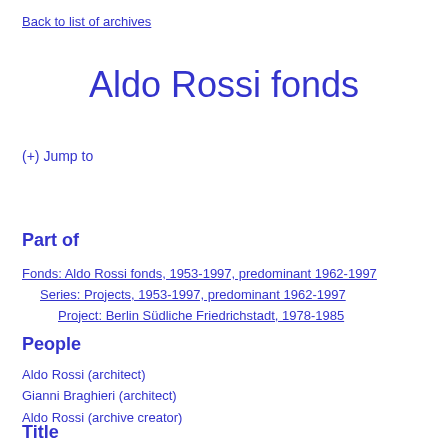Back to list of archives
Aldo Rossi fonds
(+) Jump to
Part of
Fonds: Aldo Rossi fonds, 1953-1997, predominant 1962-1997
Series: Projects, 1953-1997, predominant 1962-1997
Project: Berlin Südliche Friedrichstadt, 1978-1985
People
Aldo Rossi (architect)
Gianni Braghieri (architect)
Aldo Rossi (archive creator)
Title